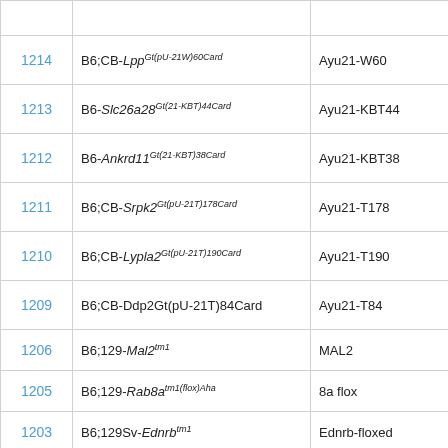| ID | Strain Name | Alias |
| --- | --- | --- |
|  |  |  |
| 1214 | B6;CB-Lpp^Gt(pU-21W)60Card | Ayu21-W60 |
| 1213 | B6-Slc26a28^Gt(21-KBT)44Card | Ayu21-KBT44 |
| 1212 | B6-Ankrd11^Gt(21-KBT)38Card | Ayu21-KBT38 |
| 1211 | B6;CB-Srpk2^Gt(pU-21T)178Card | Ayu21-T178 |
| 1210 | B6;CB-Lypla2^Gt(pU-21T)190Card | Ayu21-T190 |
| 1209 | B6;CB-Ddp2Gt(pU-21T)84Card | Ayu21-T84 |
| 1206 | B6;129-Mal2^tm1 | MAL2 |
| 1205 | B6;129-Rab8a^tm1(flox)Aha | 8a flox |
| 1203 | B6;129Sv-Ednrb^tm1 | Ednrb-floxed |
| 1202 | B6;129-Rab8a^tm1 | 8aKO |